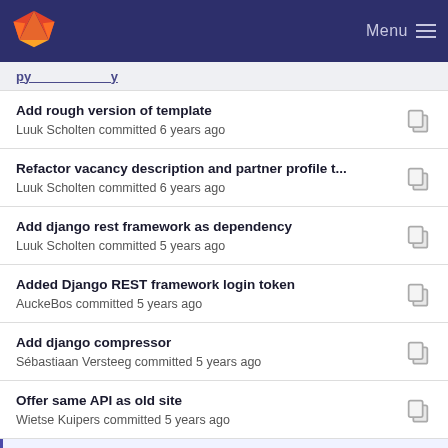Menu
Add rough version of template
Luuk Scholten committed 6 years ago
Refactor vacancy description and partner profile t...
Luuk Scholten committed 6 years ago
Add django rest framework as dependency
Luuk Scholten committed 5 years ago
Added Django REST framework login token
AuckeBos committed 5 years ago
Add django compressor
Sébastiaan Versteeg committed 5 years ago
Offer same API as old site
Wietse Kuipers committed 5 years ago
Add Celery to the thaliawebsite setup
Sébastiaan Versteeg committed 4 years ago
Heeeel klein erratic voor members app